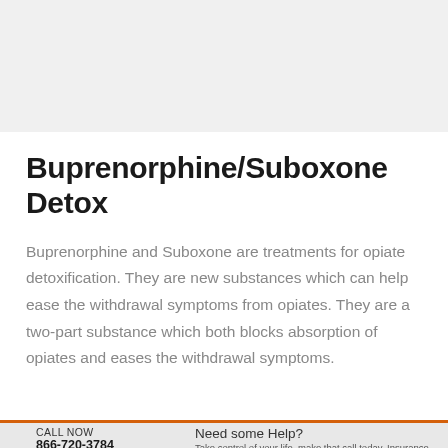Buprenorphine/Suboxone Detox
Buprenorphine and Suboxone are treatments for opiate detoxification. They are new substances which can help ease the withdrawal symptoms from opiates. They are a two-part substance which both blocks absorption of opiates and eases the withdrawal symptoms.
CALL NOW 866-720-3784 | Need some Help? Take control of your life, make that call today. Insurance accepted.